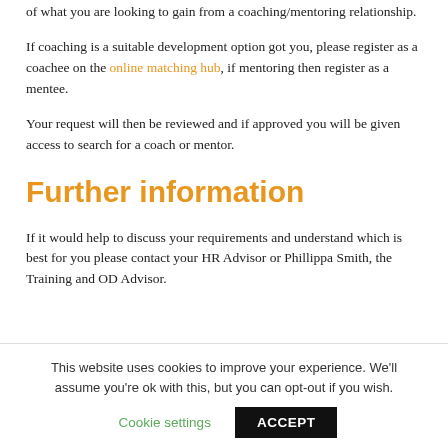of what you are looking to gain from a coaching/mentoring relationship.
If coaching is a suitable development option got you, please register as a coachee on the online matching hub, if mentoring then register as a mentee.
Your request will then be reviewed and if approved you will be given access to search for a coach or mentor.
Further information
If it would help to discuss your requirements and understand which is best for you please contact your HR Advisor or Phillippa Smith, the Training and OD Advisor.
This website uses cookies to improve your experience. We'll assume you're ok with this, but you can opt-out if you wish.
Cookie settings   ACCEPT